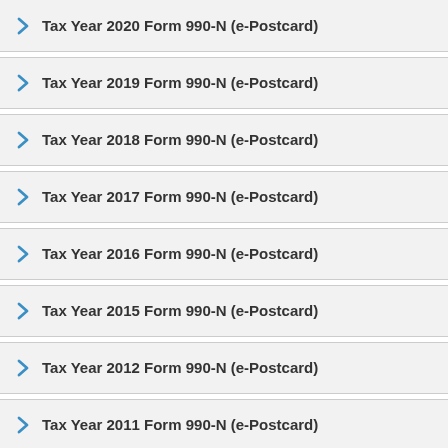Tax Year 2020 Form 990-N (e-Postcard)
Tax Year 2019 Form 990-N (e-Postcard)
Tax Year 2018 Form 990-N (e-Postcard)
Tax Year 2017 Form 990-N (e-Postcard)
Tax Year 2016 Form 990-N (e-Postcard)
Tax Year 2015 Form 990-N (e-Postcard)
Tax Year 2012 Form 990-N (e-Postcard)
Tax Year 2011 Form 990-N (e-Postcard)